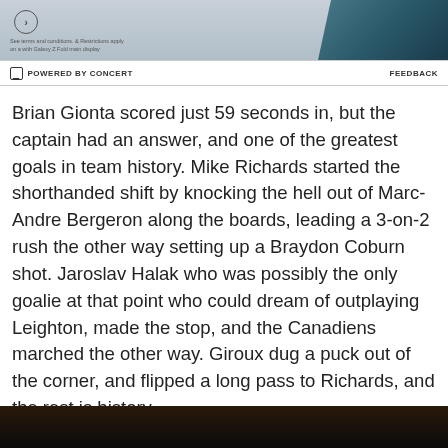[Figure (screenshot): Advertisement banner image showing a Samsung Galaxy Z Fold smartphone in teal/dark color, with a circular arrow icon and small promotional text. Bottom bar shows 'POWERED BY CONCERT' on left and 'FEEDBACK' on right.]
Brian Gionta scored just 59 seconds in, but the captain had an answer, and one of the greatest goals in team history. Mike Richards started the shorthanded shift by knocking the hell out of Marc-Andre Bergeron along the boards, leading a 3-on-2 rush the other way setting up a Braydon Coburn shot. Jaroslav Halak who was possibly the only goalie at that point who could dream of outplaying Leighton, made the stop, and the Canadiens marched the other way. Giroux dug a puck out of the corner, and flipped a long pass to Richards, and the rest is history.
[Figure (photo): Dark photo at bottom of page, appears to show people in a crowd or event setting, mostly dark tones.]